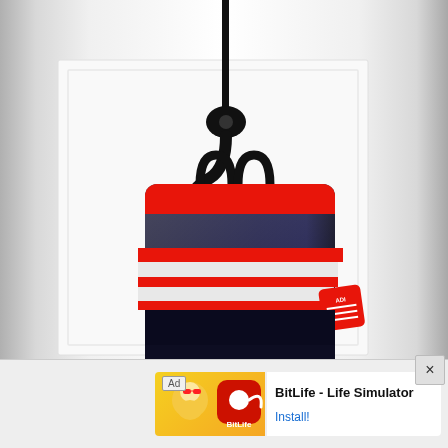[Figure (photo): A black rubber rain boot with red and white horizontal stripes hanging from a black wall hook against a white paneled wall background.]
[Figure (screenshot): Mobile advertisement banner for BitLife - Life Simulator app with red BitLife logo icon, app name text, and Install button. Has an Ad label and close X button.]